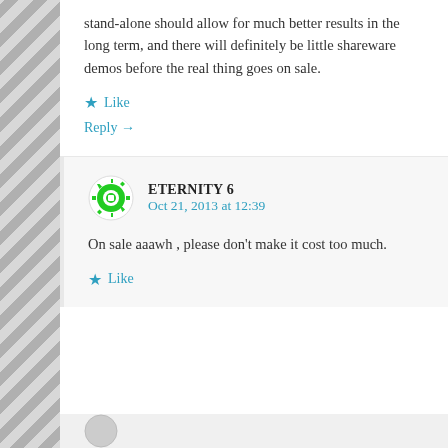stand-alone should allow for much better results in the long term, and there will definitely be little shareware demos before the real thing goes on sale.
★ Like
Reply →
ETERNITY 6
Oct 21, 2013 at 12:39
On sale aaawh , please don't make it cost too much.
★ Like